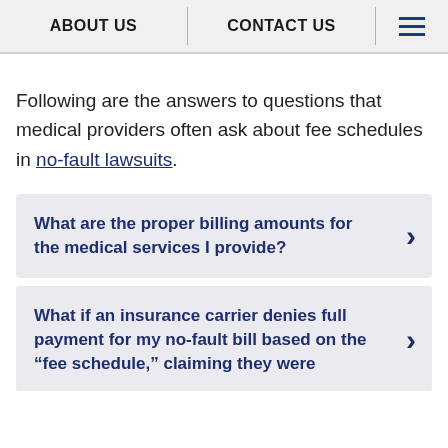ABOUT US | CONTACT US
Following are the answers to questions that medical providers often ask about fee schedules in no-fault lawsuits.
What are the proper billing amounts for the medical services I provide?
What if an insurance carrier denies full payment for my no-fault bill based on the “fee schedule,” claiming they were